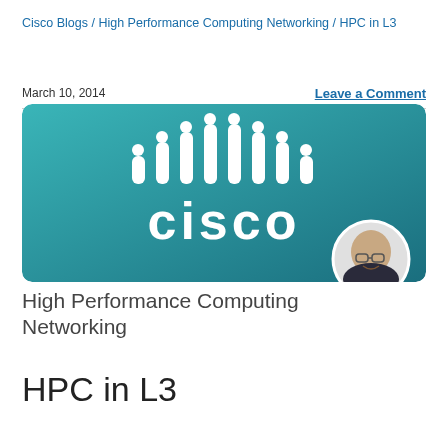Cisco Blogs / High Performance Computing Networking / HPC in L3
March 10, 2014
Leave a Comment
[Figure (logo): Cisco logo on teal-to-dark-teal gradient background with rounded corners, and a circular author photo overlay in the bottom-right corner]
High Performance Computing Networking
HPC in L3